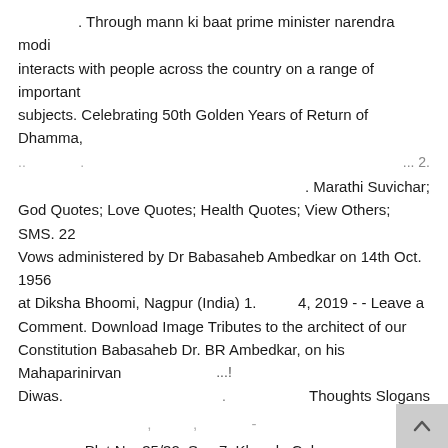. Through mann ki baat prime minister narendra modi interacts with people across the country on a range of important subjects. Celebrating 50th Golden Years of Return of Dhamma, ..                                                                                  ... 2.
. Marathi Suvichar; God Quotes; Love Quotes; Health Quotes; View Others; SMS. 22 Vows administered by Dr Babasaheb Ambedkar on 14th Oct. 1956 at Diksha Bhoomi, Nagpur (India) 1.          4, 2019 - - Leave a Comment. Download Image Tributes to the architect of our Constitution Babasaheb Dr. BR Ambedkar, on his Mahaparinirvan Diwas.                                 Thoughts Slogans
,         ,          -
. Plot No. 35/32, Sec-7, Khanda Colony, Khandeshwar, Navi Mumbai (New Mumbai), India 410206. 106 quotes from B.R.
.
...!
.